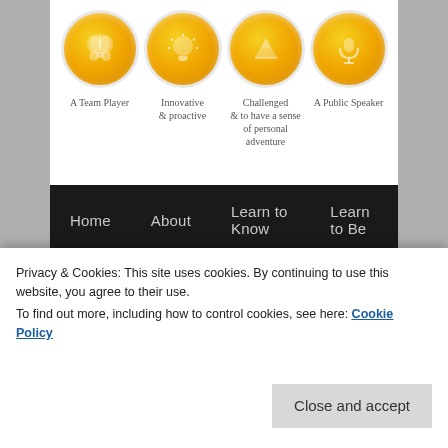[Figure (infographic): Four yellow circular icons with labels: A Team Player, Innovative & proactive, Challenged & to have a sense of personal adventure, A Public Speaker]
Home
About
Learn to Know
Learn to Be
Learn to Live Together
Learn to Do
Awards
World Map
Posts by…
Resources and Speakers
My Gap Year
Community Partner Learning
PICC
← Previous   Next →
Privacy & Cookies: This site uses cookies. By continuing to use this website, you agree to their use.
To find out more, including how to control cookies, see here: Cookie Policy
Close and accept